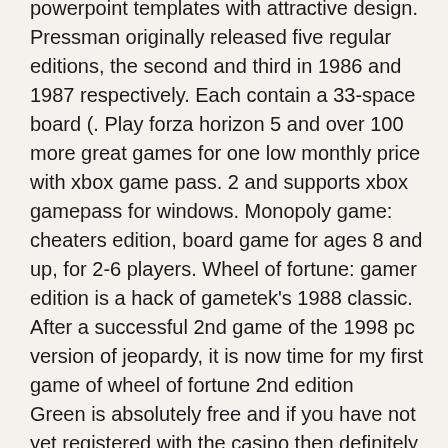powerpoint templates with attractive design. Pressman originally released five regular editions, the second and third in 1986 and 1987 respectively. Each contain a 33-space board (. Play forza horizon 5 and over 100 more great games for one low monthly price with xbox game pass. 2 and supports xbox gamepass for windows. Monopoly game: cheaters edition, board game for ages 8 and up, for 2-6 players. Wheel of fortune: gamer edition is a hack of gametek's 1988 classic. After a successful 2nd game of the 1998 pc version of jeopardy, it is now time for my first game of wheel of fortune 2nd edition
Green is absolutely free and if you have not yet registered with the casino then definitely you are missing out a lot, wheel of fortune 2nd edition game 5.
Ronin slots rewards players with three outstanding bonuses, wheel of fortune